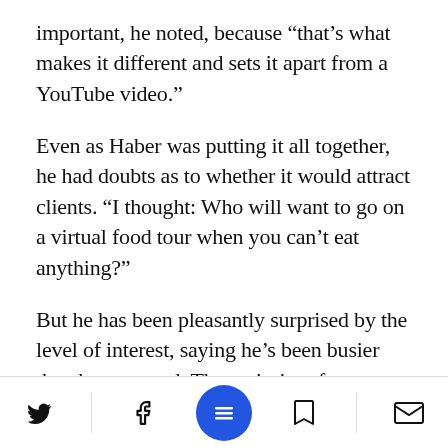important, he noted, because “that’s what makes it different and sets it apart from a YouTube video.”
Even as Haber was putting it all together, he had doubts as to whether it would attract clients. “I thought: Who will want to go on a virtual food tour when you can’t eat anything?”
But he has been pleasantly surprised by the level of interest, saying he’s been busier than he expected. The majority of tours have been booked privately by J…h organizations –